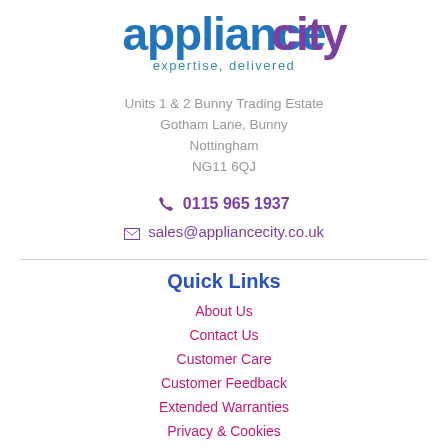[Figure (logo): Appliance City logo with 'expertise, delivered' tagline. 'appliance' in blue, 'city' in purple gradient, tagline in teal/blue.]
Units 1 & 2 Bunny Trading Estate
Gotham Lane, Bunny
Nottingham
NG11 6QJ
0115 965 1937
sales@appliancecity.co.uk
Quick Links
About Us
Contact Us
Customer Care
Customer Feedback
Extended Warranties
Privacy & Cookies
Terms of Trading
Acity Life Blog
Sitemap